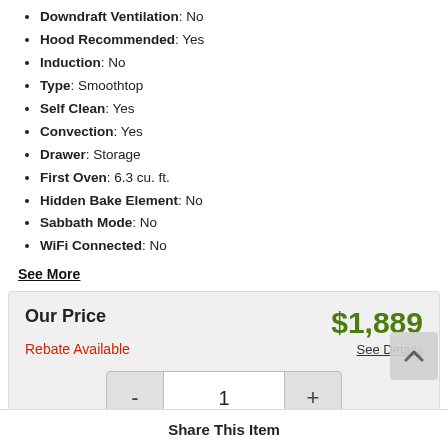Downdraft Ventilation: No
Hood Recommended: Yes
Induction: No
Type: Smoothtop
Self Clean: Yes
Convection: Yes
Drawer: Storage
First Oven: 6.3 cu. ft.
Hidden Bake Element: No
Sabbath Mode: No
WiFi Connected: No
See More
Our Price $1,889 Rebate Available See Details
1
Request Information
Share This Item